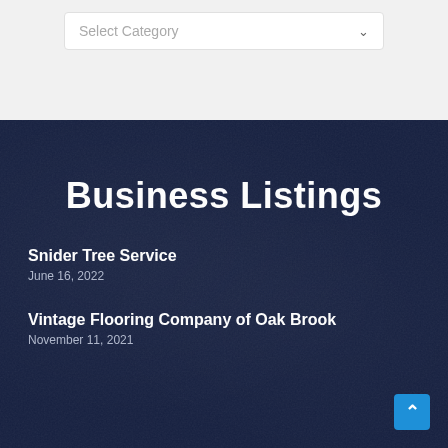[Figure (screenshot): A dropdown selector UI element with label 'Select Category' and a chevron arrow, inside a white card on a light gray background.]
Business Listings
Snider Tree Service
June 16, 2022
Vintage Flooring Company of Oak Brook
November 11, 2021